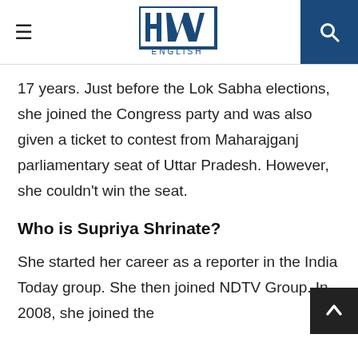HW ENGLISH
17 years. Just before the Lok Sabha elections, she joined the Congress party and was also given a ticket to contest from Maharajganj parliamentary seat of Uttar Pradesh. However, she couldn't win the seat.
Who is Supriya Shrinate?
She started her career as a reporter in the India Today group. She then joined NDTV Group. In 2008, she joined the [English channel and NDTV News]